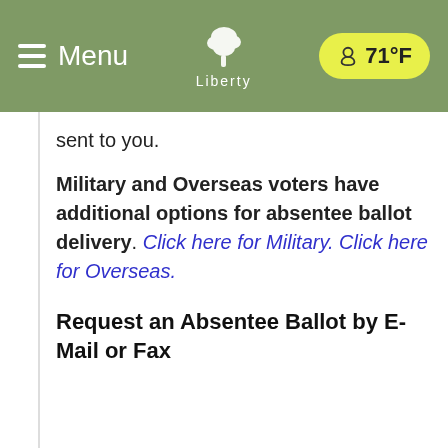Menu | Liberty | 71°F
sent to you.
Military and Overseas voters have additional options for absentee ballot delivery. Click here for Military. Click here for Overseas.
Request an Absentee Ballot by E-Mail or Fax